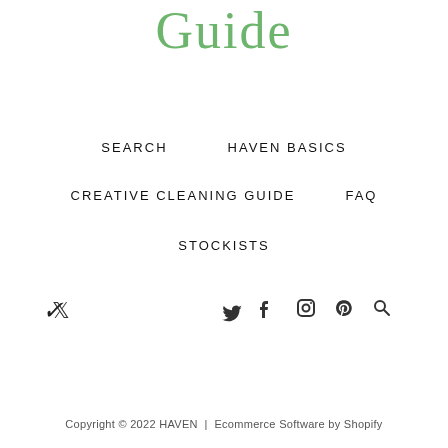Guide
SEARCH
HAVEN BASICS
CREATIVE CLEANING GUIDE
FAQ
STOCKISTS
[Figure (infographic): Social media icons row: Twitter, Facebook, Instagram, Pinterest, Search]
Copyright © 2022 HAVEN  |  Ecommerce Software by Shopify